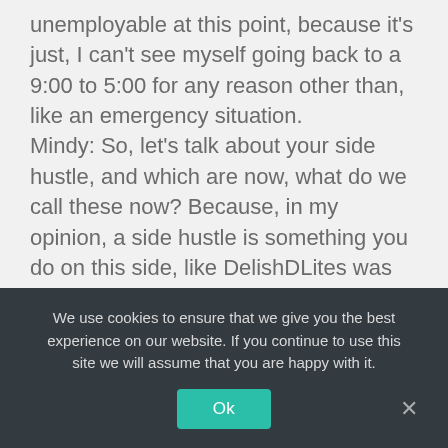unemployable at this point, because it's just, I can't see myself going back to a 9:00 to 5:00 for any reason other than, like an emergency situation.
Mindy: So, let's talk about your side hustle, and which are now, what do we call these now? Because, in my opinion, a side hustle is something you do on this side, like DelishDLites was for you, you had a full-time job. And then, on the side, you were making $3,000 a month, which is awesome. What do we call this now, your entrepreneurial endeavors?
Jannese: At this point, it's my full-time business. And I
We use cookies to ensure that we give you the best experience on our website. If you continue to use this site we will assume that you are happy with it.